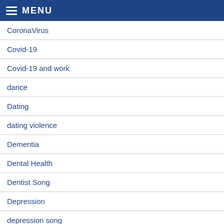MENU
CoronaVirus
Covid-19
Covid-19 and work
dance
Dating
dating violence
Dementia
Dental Health
Dentist Song
Depression
depression song
Diabetes